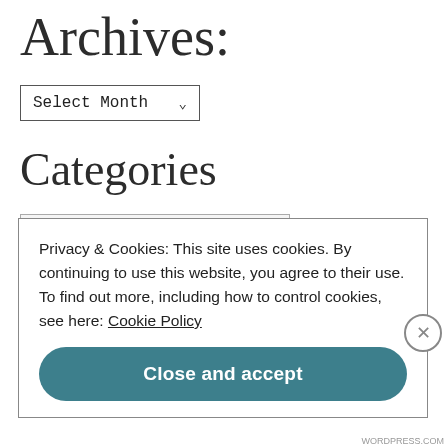Archives:
Select Month
Categories
Select Category
Privacy & Cookies: This site uses cookies. By continuing to use this website, you agree to their use.
To find out more, including how to control cookies, see here: Cookie Policy
Close and accept